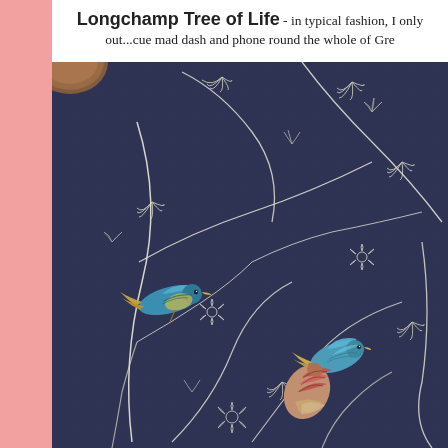Longchamp Tree of Life - in typical fashion, I only out...cue mad dash and phone round the whole of Gre
[Figure (photo): Close-up photograph of a dark navy blue embroidered fabric (Longchamp Tree of Life bag) showing white embroidered vines, leaves, and flowers with colorful embroidered birds in blue, teal, gold, and red/pink tones. A circular brown leather piece is visible in the top-left corner.]